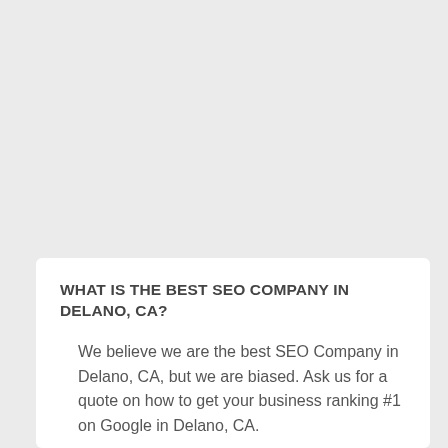WHAT IS THE BEST SEO COMPANY IN DELANO, CA?
We believe we are the best SEO Company in Delano, CA, but we are biased. Ask us for a quote on how to get your business ranking #1 on Google in Delano, CA.